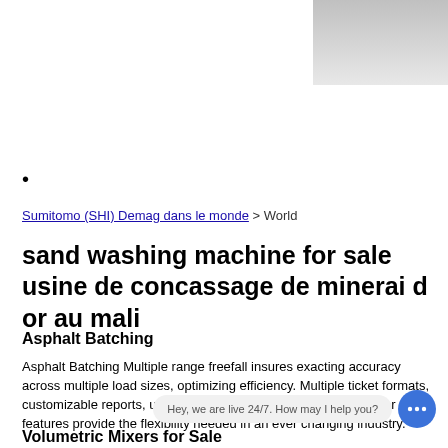[Figure (other): Gray gradient box in top-right corner]
•
Sumitomo (SHI) Demag dans le monde > World
sand washing machine for sale usine de concassage de minerai d or au mali
Asphalt Batching
Asphalt Batching Multiple range freefall insures exacting accuracy across multiple load sizes, optimizing efficiency. Multiple ticket formats, customizable reports, user configurable graphics and many other features provide the flexibility needed in an ever changing industry.
Volumetric Mixers for Sale